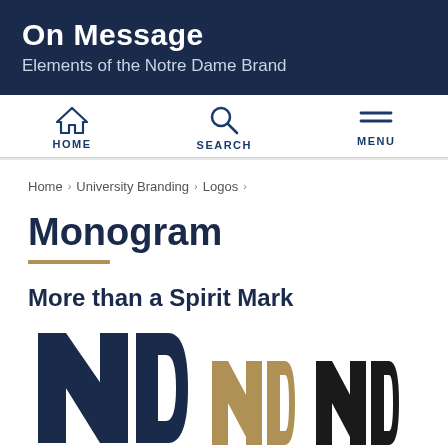On Message — Elements of the Notre Dame Brand
HOME | SEARCH | MENU
Home › University Branding › Logos ›
Monogram
More than a Spirit Mark
[Figure (logo): Three Notre Dame ND monogram logos: large navy blue, medium gold, medium black]